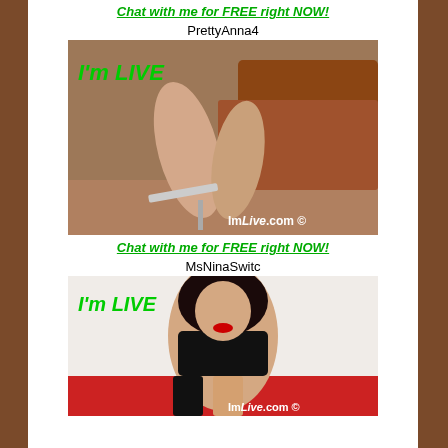Chat with me for FREE right NOW!
PrettyAnna4
[Figure (photo): ImLive.com webcam model photo showing legs with high heels, I'm LIVE watermark in green text]
Chat with me for FREE right NOW!
MsNinaSwitc
[Figure (photo): ImLive.com webcam model photo of dark-haired woman in black outfit, I'm LIVE watermark in green text]